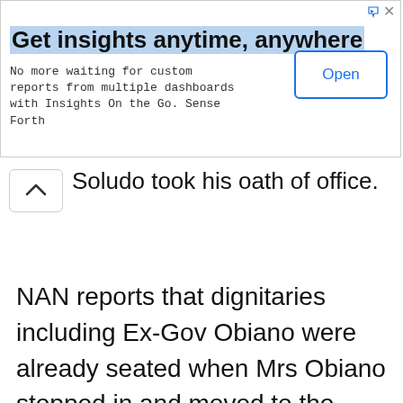[Figure (other): Advertisement banner: 'Get insights anytime, anywhere' with subtitle 'No more waiting for custom reports from multiple dashboards with Insights On the Go. Sense Forth' and an 'Open' button]
Soludo took his oath of office.
NAN reports that dignitaries including Ex-Gov Obiano were already seated when Mrs Obiano stepped in and moved to the front row where the widow of Dim Odumegwu Ojukwu was seated and slapped her.